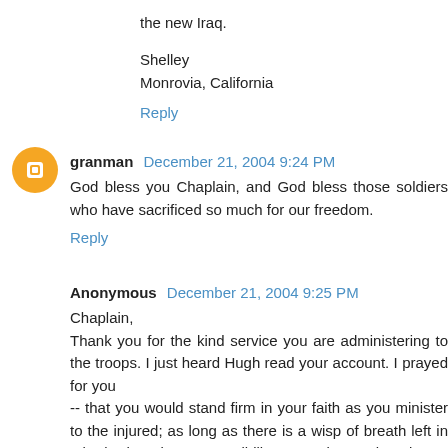the new Iraq.
Shelley
Monrovia, California
Reply
granman December 21, 2004 9:24 PM
God bless you Chaplain, and God bless those soldiers who have sacrificed so much for our freedom.
Reply
Anonymous December 21, 2004 9:25 PM
Chaplain,
Thank you for the kind service you are administering to the troops. I just heard Hugh read your account. I prayed for you
-- that you would stand firm in your faith as you minister to the injured; as long as there is a wisp of breath left in a body, there is a responsibility granted to God, and...